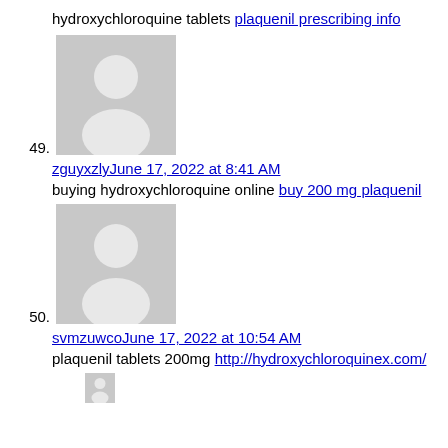hydroxychloroquine tablets plaquenil prescribing info
[Figure (illustration): Generic user avatar placeholder image (grey background with white silhouette of a person)]
49.
zguyxzlyJune 17, 2022 at 8:41 AM
buying hydroxychloroquine online buy 200 mg plaquenil
[Figure (illustration): Generic user avatar placeholder image (grey background with white silhouette of a person)]
50.
svmzuwcoJune 17, 2022 at 10:54 AM
plaquenil tablets 200mg http://hydroxychloroquinex.com/
[Figure (illustration): Generic user avatar placeholder image (partially visible at bottom)]